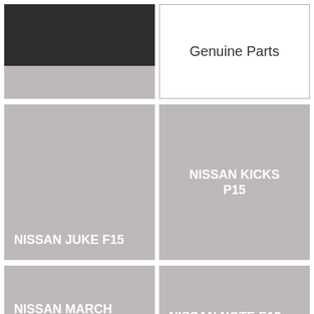[Figure (photo): Dark automotive photo (partial, cropped at top), then gray area below]
Genuine Parts
[Figure (illustration): Gray placeholder tile labeled NISSAN JUKE F15]
[Figure (illustration): Gray placeholder tile labeled NISSAN KICKS P15]
[Figure (illustration): Gray placeholder tile labeled NISSAN MARCH K13]
[Figure (illustration): Gray placeholder tile labeled NISSAN NOTE E12]